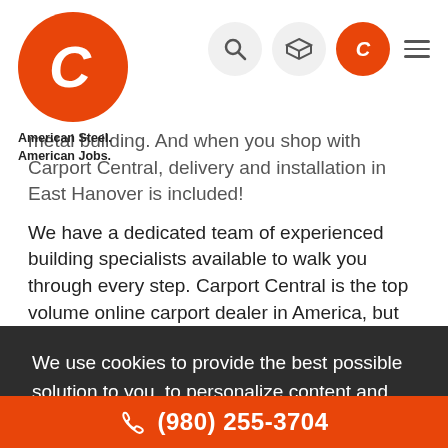[Figure (logo): Carport Central orange circle logo with stylized C, and tagline 'American Steel. American Jobs.']
[Figure (screenshot): Navigation icons: search magnifying glass, 3D box icon, orange circle with C phone icon, hamburger menu lines]
metal building. And when you shop with Carport Central, delivery and installation in East Hanover is included!
We have a dedicated team of experienced building specialists available to walk you through every step. Carport Central is the top volume online carport dealer in America, but we didn't reach this level of business by
We use cookies to provide the best possible solution to you, to personalize content and ads, to show you the best products or services you're looking for. For more details visit Privacy Policy.
OK, THANKS
Carport Central offers a vast range of metal carports and
(980) 255-3704